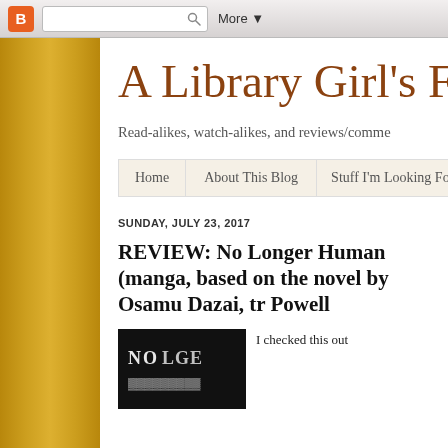B [Blogger icon] [search box] More ▼
A Library Girl's Fa
Read-alikes, watch-alikes, and reviews/comme
Home | About This Blog | Stuff I'm Looking Forwa
SUNDAY, JULY 23, 2017
REVIEW: No Longer Human (manga, based on the novel by Osamu Dazai, tr Powell
[Figure (photo): Book cover or title image showing 'NO ...' text in embossed/textured letters on dark background]
I checked this out